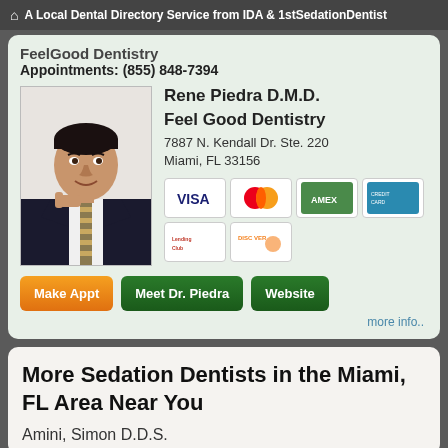A Local Dental Directory Service from IDA & 1stSedationDentist
FeelGood Dentistry
Appointments: (855) 848-7394
Rene Piedra D.M.D.
Feel Good Dentistry
7887 N. Kendall Dr. Ste. 220
Miami, FL 33156
[Figure (photo): Professional headshot of Dr. Rene Piedra in a suit]
[Figure (other): Payment method logos: VISA, MasterCard, American Express, a blue card, LendingClub, Discover]
Make Appt   Meet Dr. Piedra   Website
more info..
More Sedation Dentists in the Miami, FL Area Near You
Amini, Simon D.D.S.